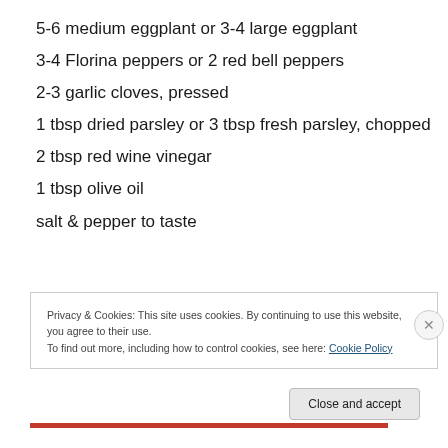5-6 medium eggplant or 3-4 large eggplant
3-4 Florina peppers or 2 red bell peppers
2-3 garlic cloves, pressed
1 tbsp dried parsley or 3 tbsp fresh parsley, chopped
2 tbsp red wine vinegar
1 tbsp olive oil
salt & pepper to taste
Privacy & Cookies: This site uses cookies. By continuing to use this website, you agree to their use.
To find out more, including how to control cookies, see here: Cookie Policy
Close and accept